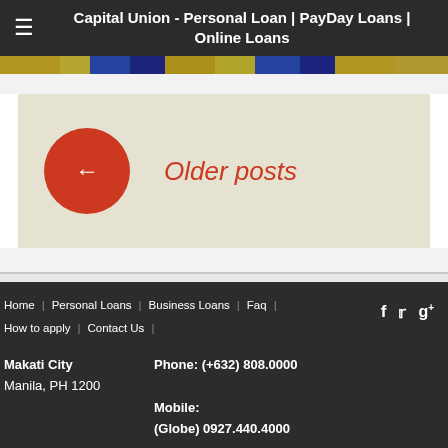Capital Union - Personal Loan | PayDay Loans | Online Loans
[Figure (photo): Horizontal image strip showing colorful decorative banner images with gold, blue, and dark tones]
[Figure (screenshot): Older posts navigation button: red circle with left arrow and italic red text 'Older posts' on beige background]
Home | Personal Loans | Business Loans | Faq | How to apply | Contact Us | [social icons: f, bird/twitter, g+] | Makati City, Manila, PH 1200 | Phone: (+632) 808.0000 | Mobile: (Globe) 0927.440.4000